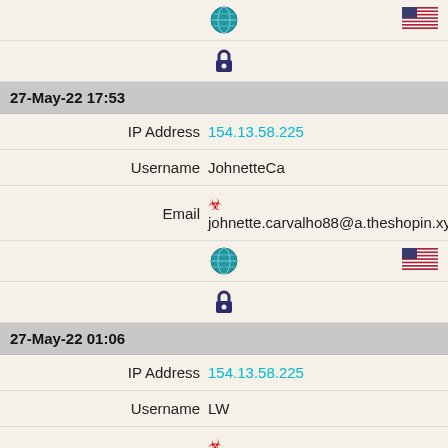| [globe icon] | [flag icon] |
| [lock icon] |  |
| 27-May-22 17:53 |  |
| IP Address | 154.13.58.225 |
| Username | JohnetteCa |
| Email | johnette.carvalho88@a.theshopin.xyz |
| [globe icon] | [flag icon] |
| [lock icon] |  |
| 27-May-22 01:06 |  |
| IP Address | 154.13.58.225 |
| Username | LW |
| Email | yong_macgillivray80@g.theshopin.xyz |
| [globe icon] | [flag icon] |
| [lock icon] |  |
| 26-May-22 18:50 |  |
| IP Address | 154.13.58.225 |
| Username | YL |